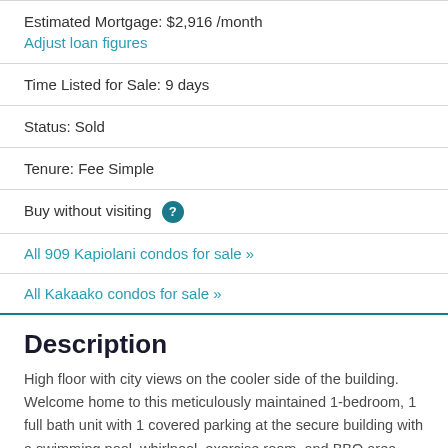Estimated Mortgage: $2,916 /month
Adjust loan figures
Time Listed for Sale: 9 days
Status: Sold
Tenure: Fee Simple
Buy without visiting ?
All 909 Kapiolani condos for sale »
All Kakaako condos for sale »
Description
High floor with city views on the cooler side of the building. Welcome home to this meticulously maintained 1-bedroom, 1 full bath unit with 1 covered parking at the secure building with a swimming pool, whirlpool, exercise room, and BBQ area. Floor-to-ceiling windows in